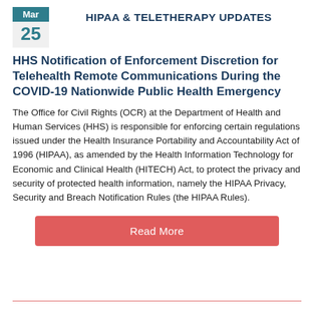HIPAA & TELETHERAPY UPDATES
HHS Notification of Enforcement Discretion for Telehealth Remote Communications During the COVID-19 Nationwide Public Health Emergency
The Office for Civil Rights (OCR) at the Department of Health and Human Services (HHS) is responsible for enforcing certain regulations issued under the Health Insurance Portability and Accountability Act of 1996 (HIPAA), as amended by the Health Information Technology for Economic and Clinical Health (HITECH) Act, to protect the privacy and security of protected health information, namely the HIPAA Privacy, Security and Breach Notification Rules (the HIPAA Rules).
Read More